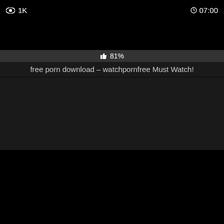[Figure (screenshot): Black video thumbnail placeholder for first video card]
👁 1K
⏱ 07:00
👍 81%
free porn download – watchpornfree Must Watch!
[Figure (screenshot): Black video thumbnail placeholder for second video card]
👁 421
⏱ 07:00